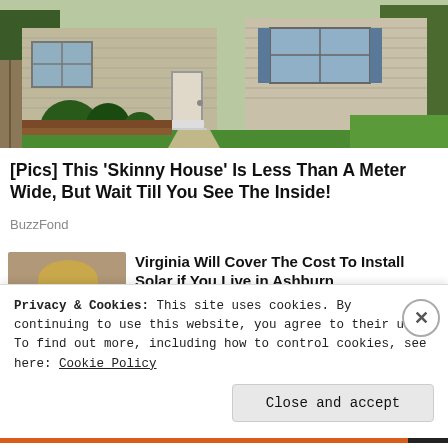[Figure (photo): Photo of a suburban house exterior with beige/tan siding, white front door, arched windows, green shrubs, and a green lawn]
[Pics] This 'Skinny House' Is Less Than A Meter Wide, But Wait Till You See The Inside!
BuzzFond
[Figure (photo): Photo of a woman with short blonde hair wearing glasses, speaking at a microphone]
Virginia Will Cover The Cost To Install Solar if You Live in Ashburn
Solar Smart Install
Privacy & Cookies: This site uses cookies. By continuing to use this website, you agree to their use.
To find out more, including how to control cookies, see here: Cookie Policy
Close and accept